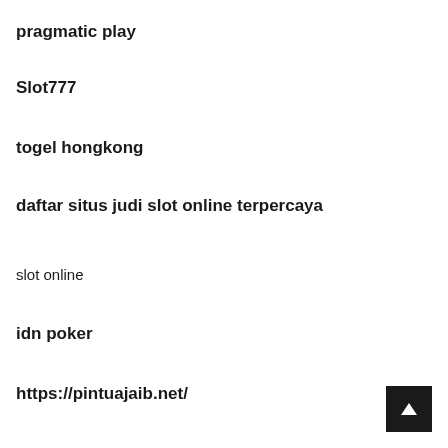pragmatic play
Slot777
togel hongkong
daftar situs judi slot online terpercaya
slot online
idn poker
https://pintuajaib.net/